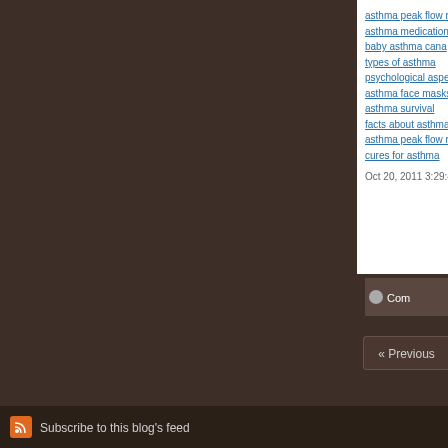asthma peak flow r
asthma medication
baby asthma cana
types of asthma
psychological aspe
asthma face masks
asthma survival
facts about asthma
asthma peak flow r
cures for asthma
Oct 20, 2011 3:29:4
Com
« Previous
Subscribe to this blog's feed